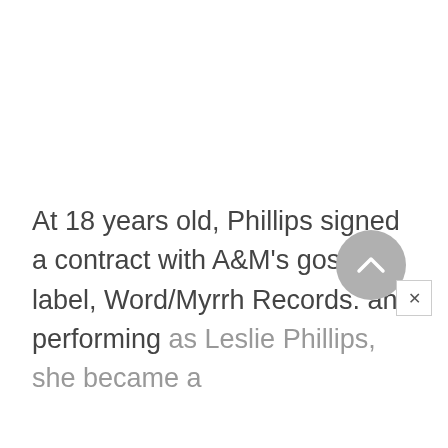At 18 years old, Phillips signed a contract with A&M's gospel label, Word/Myrrh Records. and performing as Leslie Phillips, she became a